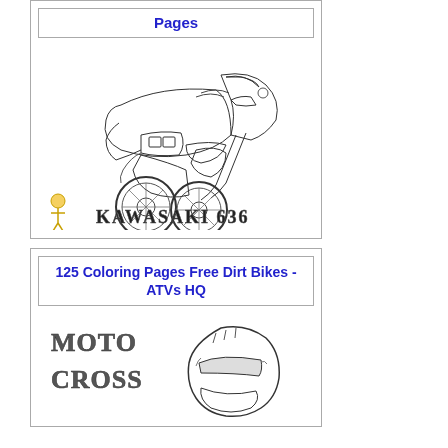Pages
[Figure (illustration): Line drawing coloring page of a Kawasaki 636 sport motorcycle, with a small cartoon character logo and 'KAWASAKI 636' text at the bottom left]
125 Coloring Pages Free Dirt Bikes - ATVs HQ
[Figure (illustration): Partial view of a Moto Cross coloring page showing stylized 'MOTO CROSS' text and a helmet illustration]